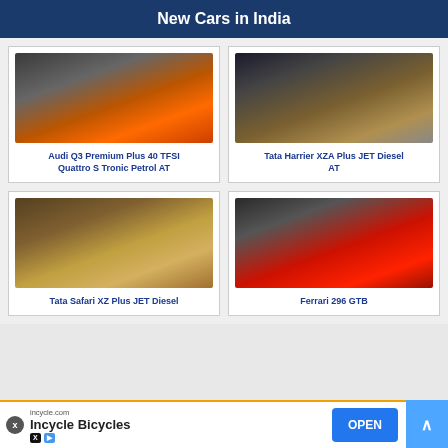New Cars in India
[Figure (photo): Orange Audi Q3 SUV side profile on dark background]
Audi Q3 Premium Plus 40 TFSI Quattro S Tronic Petrol AT
[Figure (photo): Gold/bronze Tata Harrier SUV front three-quarter view on dark background]
Tata Harrier XZA Plus JET Diesel AT
[Figure (photo): Gold Tata Safari SUV with plane and person in background]
Tata Safari XZ Plus JET Diesel
[Figure (photo): Red Ferrari 296 GTB sports car side view]
Ferrari 296 GTB
incycle.com Incycle Bicycles OPEN